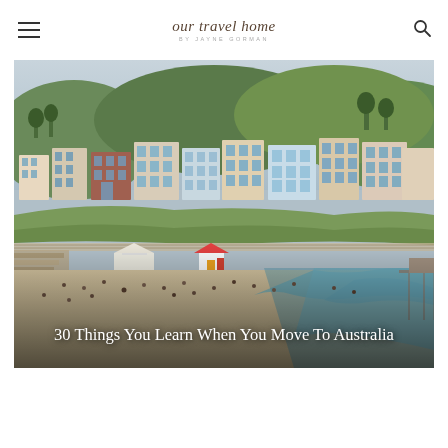our travel home BY JAYNE GORMAN
[Figure (photo): Aerial/elevated view of Bondi Beach, Sydney, Australia, showing a sandy beach with people, turquoise ocean waves, and residential buildings and apartments on the hillside behind the beach, taken on an overcast day.]
30 Things You Learn When You Move To Australia